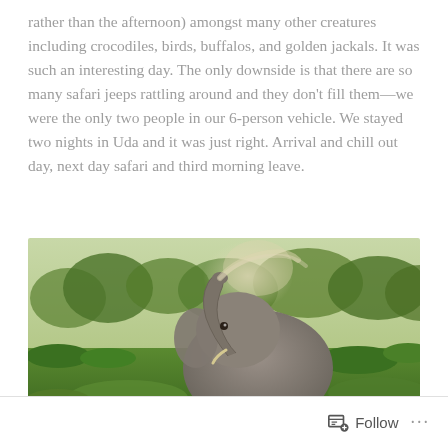rather than the afternoon) amongst many other creatures including crocodiles, birds, buffalos, and golden jackals.  It was such an interesting day.  The only downside is that there are so many safari jeeps rattling around and they don't fill them—we were the only two people in our 6-person vehicle. We stayed two nights in Uda and it was just right.  Arrival and chill out day, next day safari and third morning leave.
[Figure (photo): A photograph of an elephant in a lush green safari landscape, with its trunk raised and dust swirling above it. Trees visible in the background.]
Follow ···